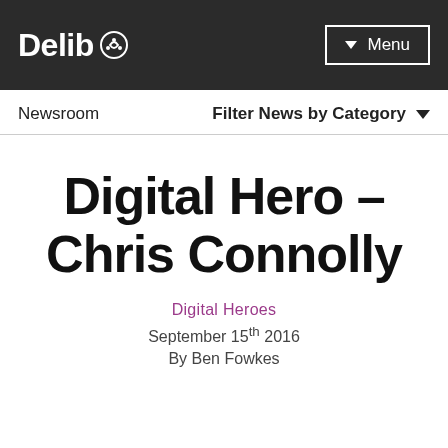Delib — Menu
Newsroom    Filter News by Category
Digital Hero – Chris Connolly
Digital Heroes
September 15th 2016
By Ben Fowkes